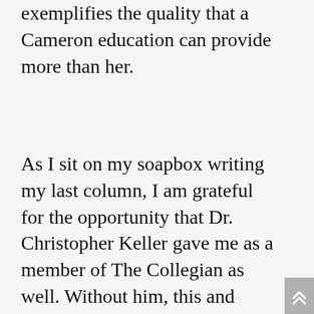exemplifies the quality that a Cameron education can provide more than her.
As I sit on my soapbox writing my last column, I am grateful for the opportunity that Dr. Christopher Keller gave me as a member of The Collegian as well. Without him, this and every other column I have written would have been relegated to just another online blog with few followers. As faculty adviser to The Collegian, Dr. Keller encouraged me to share my writing and join the staff as copy editor...